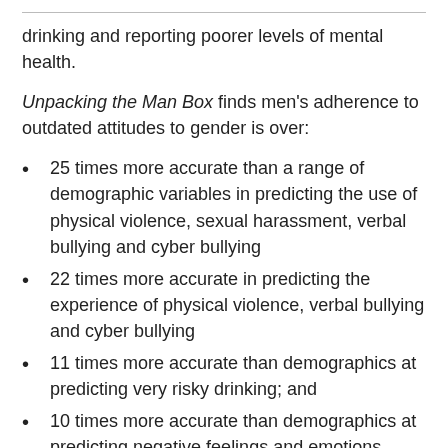drinking and reporting poorer levels of mental health.
Unpacking the Man Box finds men's adherence to outdated attitudes to gender is over:
25 times more accurate than a range of demographic variables in predicting the use of physical violence, sexual harassment, verbal bullying and cyber bullying
22 times more accurate in predicting the experience of physical violence, verbal bullying and cyber bullying
11 times more accurate than demographics at predicting very risky drinking; and
10 times more accurate than demographics at predicting negative feelings and emotions.
Matt Tyler, Executive Director of Jesuit Social Services' The Men's Project, says the report shows masculine stereotypes stop young men from living healthy lives and